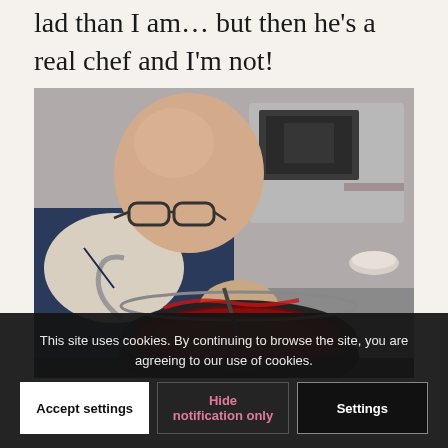lad than I am… but then he's a real chef and I'm not!
[Figure (photo): A bald man wearing glasses and a dark apron leans over a large pot with a dark red sauce or jam, stirring it. A microwave and kitchen equipment are visible in the background.]
This site uses cookies. By continuing to browse the site, you are agreeing to our use of cookies.
Accept settings | Hide notification only | Settings